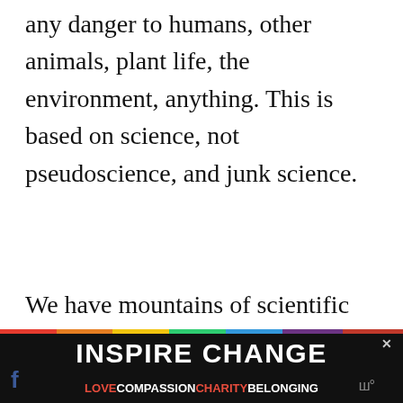any danger to humans, other animals, plant life, the environment, anything. This is based on science, not pseudoscience, and junk science.
We have mountains of scientific evidence that support the fact that mosquito-borne illnesses, like the Zika
Don't miss each new article!
[Figure (other): Email address subscription input field (greyed out, placeholder text 'Email Address')]
[Figure (other): Advertisement banner: 'INSPIRE CHANGE' in large bold white text on black background with rainbow stripe, subtext 'LOVE COMPASSION CHARITY BELONGING', close button X top right, Facebook icon bottom left, social icons bottom right]